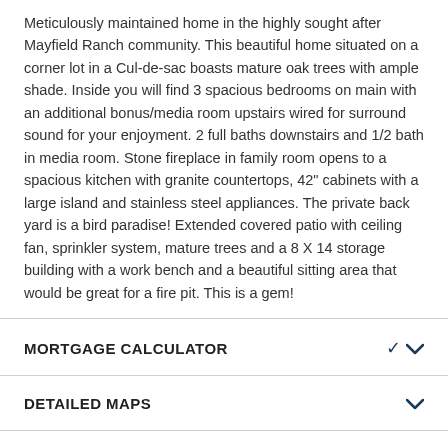Meticulously maintained home in the highly sought after Mayfield Ranch community. This beautiful home situated on a corner lot in a Cul-de-sac boasts mature oak trees with ample shade. Inside you will find 3 spacious bedrooms on main with an additional bonus/media room upstairs wired for surround sound for your enjoyment. 2 full baths downstairs and 1/2 bath in media room. Stone fireplace in family room opens to a spacious kitchen with granite countertops, 42" cabinets with a large island and stainless steel appliances. The private back yard is a bird paradise! Extended covered patio with ceiling fan, sprinkler system, mature trees and a 8 X 14 storage building with a work bench and a beautiful sitting area that would be great for a fire pit. This is a gem!
MORTGAGE CALCULATOR
DETAILED MAPS
PRICE CHANGE HISTORY